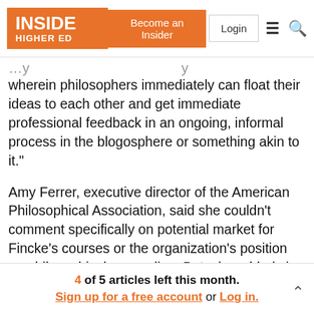INSIDE HIGHER ED | Become an Insider | Login
wherein philosophers immediately can float their ideas to each other and get immediate professional feedback in an ongoing, informal process in the blogosphere or something akin to it.”
Amy Ferrer, executive director of the American Philosophical Association, said she couldn't comment specifically on potential market for Fincke's courses or the organization's position on philosophical counseling. But, she added via email: "The discipline and the profession benefit from increased public engagement with and exposure to philosophy; if courses like Fincke's
4 of 5 articles left this month.
Sign up for a free account or Log in.